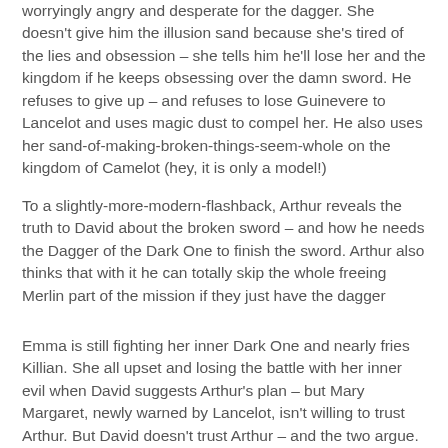worryingly angry and desperate for the dagger. She doesn't give him the illusion sand because she's tired of the lies and obsession – she tells him he'll lose her and the kingdom if he keeps obsessing over the damn sword. He refuses to give up – and refuses to lose Guinevere to Lancelot and uses magic dust to compel her. He also uses her sand-of-making-broken-things-seem-whole on the kingdom of Camelot (hey, it is only a model!)
To a slightly-more-modern-flashback, Arthur reveals the truth to David about the broken sword – and how he needs the Dagger of the Dark One to finish the sword. Arthur also thinks that with it he can totally skip the whole freeing Merlin part of the mission if they just have the dagger
Emma is still fighting her inner Dark One and nearly fries Killian. She all upset and losing the battle with her inner evil when David suggests Arthur's plan – but Mary Margaret, newly warned by Lancelot, isn't willing to trust Arthur. But David doesn't trust Arthur – and the two argue. It's like watching a duel between a lettuce and a cucumber. So very sad and dull and soggy. She accuses David of becoming a